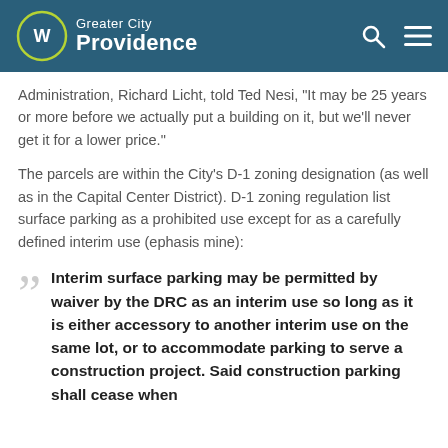Greater City Providence
Administration, Richard Licht, told Ted Nesi, "It may be 25 years or more before we actually put a building on it, but we'll never get it for a lower price."
The parcels are within the City's D-1 zoning designation (as well as in the Capital Center District). D-1 zoning regulation list surface parking as a prohibited use except for as a carefully defined interim use (ephasis mine):
Interim surface parking may be permitted by waiver by the DRC as an interim use so long as it is either accessory to another interim use on the same lot, or to accommodate parking to serve a construction project. Said construction parking shall cease when